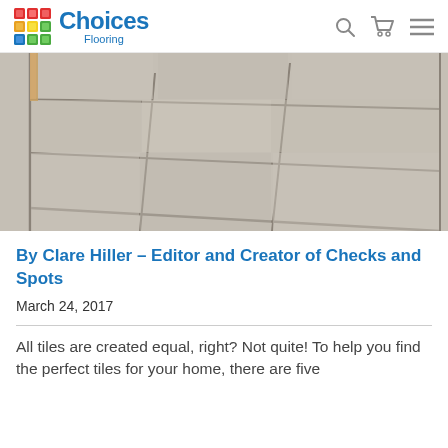Choices Flooring
[Figure (photo): Close-up photo of light grey/beige large-format floor tiles laid in a grid pattern, photographed from a low angle showing perspective depth.]
By Clare Hiller – Editor and Creator of Checks and Spots
March 24, 2017
All tiles are created equal, right? Not quite! To help you find the perfect tiles for your home, there are five